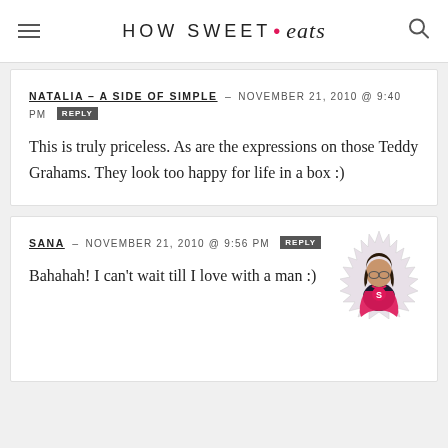HOW SWEET • eats
NATALIA – A SIDE OF SIMPLE – NOVEMBER 21, 2010 @ 9:40 PM REPLY
This is truly priceless. As are the expressions on those Teddy Grahams. They look too happy for life in a box :)
SANA – NOVEMBER 21, 2010 @ 9:56 PM REPLY
[Figure (illustration): Cartoon superhero woman avatar with pink cape and black outfit, spiky halo background]
Bahahah! I can't wait till I love with a man :)